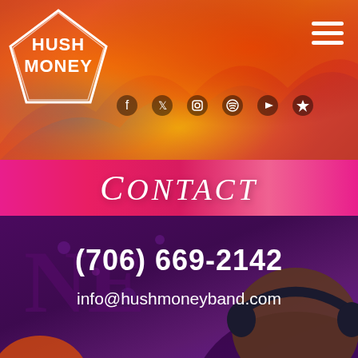[Figure (screenshot): Hush Money band website screenshot showing header with flame/abstract art background, band logo top-left, hamburger menu top-right, social media icons row, pink Contact banner, and purple/dark background with phone number and email contact info over cartoon character illustration.]
HUSH MONEY (logo)
Contact
(706) 669-2142
info@hushmoneyband.com